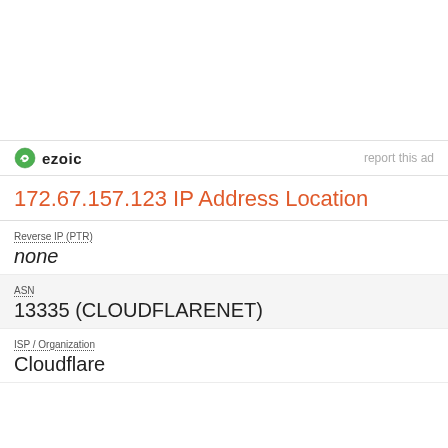[Figure (logo): Ezoic logo with green circular icon and bold 'ezoic' text, and 'report this ad' text on the right]
172.67.157.123 IP Address Location
Reverse IP (PTR)
none
ASN
13335 (CLOUDFLARENET)
ISP / Organization
Cloudflare